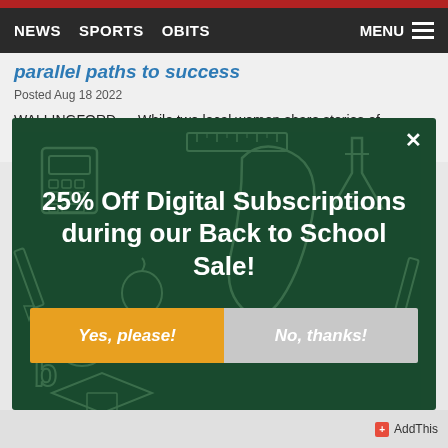NEWS  SPORTS  OBITS  MENU
parallel paths to success
Posted Aug 18 2022
WALLINGFORD — While two local women share stories of hardship in leaving Peru more than a decade apa...
[Figure (screenshot): Modal popup advertisement: dark green background with school supply doodles. Large white bold text reads '25% Off Digital Subscriptions during our Back to School Sale!' with two buttons: orange 'Yes, please!' and gray 'No, thanks!']
AddThis